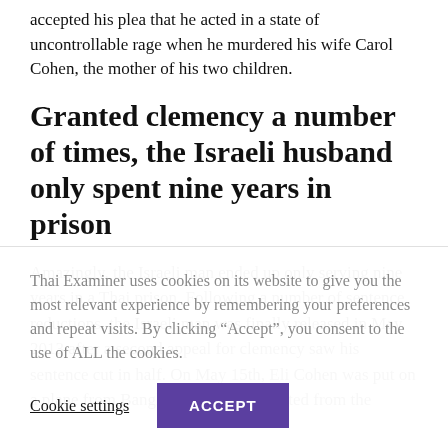accepted his plea that he acted in a state of uncontrollable rage when he murdered his wife Carol Cohen, the mother of his two children.
Granted clemency a number of times, the Israeli husband only spent nine years in prison
Amazingly, the Israeli man ended up only serving nine years in a Thai prison. Following a number of sentence reductions, the Israeli man was finally released in May 2013 after a second appeal for clemency saw his sentence cut in half. On May 15th, Eli Cohen was put on a plane from Bangkok to Israel, deported from the
Thai Examiner uses cookies on its website to give you the most relevant experience by remembering your preferences and repeat visits. By clicking “Accept”, you consent to the use of ALL the cookies.
Cookie settings
ACCEPT